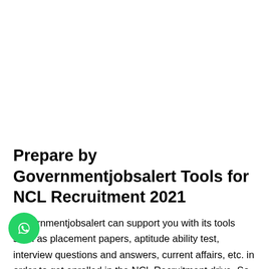Prepare by Governmentjobsalert Tools for NCL Recruitment 2021
Governmentjobsalert can support you with its tools such as placement papers, aptitude ability test, interview questions and answers, current affairs, etc. in order to get enrolled in the NCL Recruitment drive. So make use of it and clench the Work